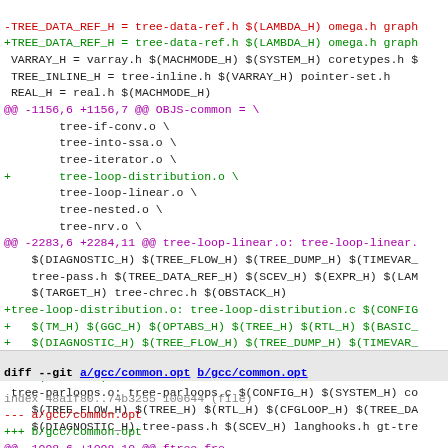diff output showing changes to gcc Makefile.in and gcc/common.opt, including additions of tree-loop-distribution.o and related dependency lines
-TREE_DATA_REF_H = tree-data-ref.h $(LAMBDA_H) omega.h graph
+TREE_DATA_REF_H = tree-data-ref.h $(LAMBDA_H) omega.h graph
VARRAY_H = varray.h $(MACHMODE_H) $(SYSTEM_H) coretypes.h $
TREE_INLINE_H = tree-inline.h $(VARRAY_H) pointer-set.h
REAL_H = real.h $(MACHMODE_H)
@@ -1156,6 +1156,7 @@ OBJS-common = \
tree-if-conv.o \
        tree-into-ssa.o \
        tree-iterator.o \
+       tree-loop-distribution.o \
tree-loop-linear.o \
        tree-nested.o \
        tree-nrv.o \
@@ -2283,6 +2284,11 @@ tree-loop-linear.o: tree-loop-linear.
$(DIAGNOSTIC_H) $(TREE_FLOW_H) $(TREE_DUMP_H) $(TIMEVAR_
    tree-pass.h $(TREE_DATA_REF_H) $(SCEV_H) $(EXPR_H) $(LAM
    $(TARGET_H) tree-chrec.h $(OBSTACK_H)
+tree-loop-distribution.o: tree-loop-distribution.c $(CONFIG
+   $(TM_H) $(GGC_H) $(OPTABS_H) $(TREE_H) $(RTL_H) $(BASIC_
+   $(DIAGNOSTIC_H) $(TREE_FLOW_H) $(TREE_DUMP_H) $(TIMEVAR_
+   tree-pass.h $(TREE_DATA_REF_H) $(SCEV_H) $(EXPR_H) \
+   $(TARGET_H) tree-chrec.h tree-vectorizer.h
tree-parloops.o: tree-parloops.c $(CONFIG_H) $(SYSTEM_H) co
    $(TREE_FLOW_H) $(TREE_H) $(RTL_H) $(CFGLOOP_H) $(TREE_DA
    $(DIAGNOSTIC_H) tree-pass.h $(SCEV_H) langhooks.h gt-tre
diff --git a/gcc/common.opt b/gcc/common.opt
index 48a1f80..74b3255 100644 (file)
--- a/gcc/common.opt
+++ b/gcc/common.opt
@@ -1098,6 +1098,10 @@ ftree-fre
Common Report Var(flag_tree_fre) Optimization